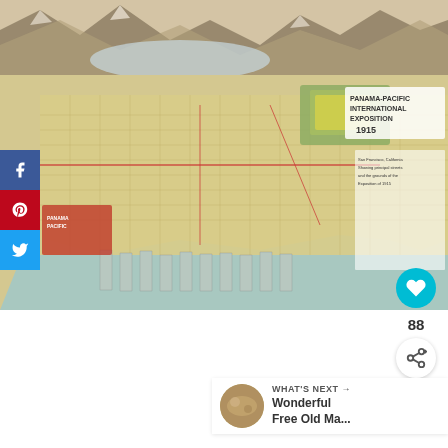[Figure (map): Historical bird's-eye view map of San Francisco showing the Panama-Pacific International Exposition 1915. The map shows the city grid, bay, surrounding hills, and the exposition grounds. Top portion shows aerial/mountainous landscape view; bottom portion shows detailed city map with street grid, waterfront piers, and the exposition grounds labeled in upper right.]
[Figure (infographic): Social sharing sidebar with Facebook (blue), Pinterest (red), and Twitter (light blue) buttons stacked vertically on the left edge of the page.]
88
WHAT'S NEXT → Wonderful Free Old Ma...